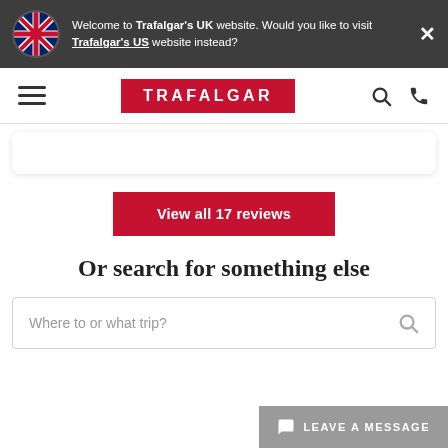Welcome to Trafalgar's UK website. Would you like to visit Trafalgar's US website instead?
[Figure (screenshot): Trafalgar navigation bar with hamburger menu, red TRAFALGAR logo box, search and phone icons]
View all 17 reviews
Or search for something else
Where to or what trip?
LEAVE A MESSAGE